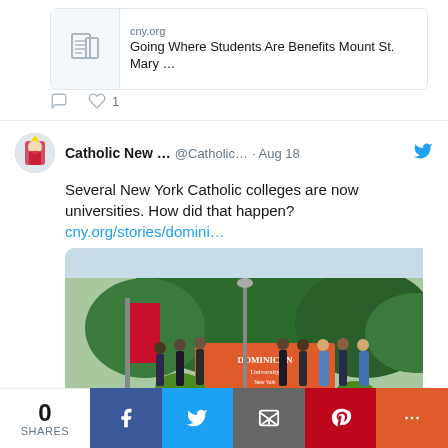[Figure (screenshot): Twitter/social media screenshot showing two tweets from Catholic New York (@Catholic...). Top section shows a tweet with article card: domain 'cny.org', title 'Going Where Students Are Benefits Mount St. Mary ...' with a document icon, and a like count of 1. Second tweet dated Aug 18 reads: 'Several New York Catholic colleges are now universities. How did that happen? cny.org/stories/domini...' with a photo of people standing in front of a Dominican University sign. Bottom share bar shows 0 SHARES with Facebook, Twitter, Email, Pinterest, and More buttons.]